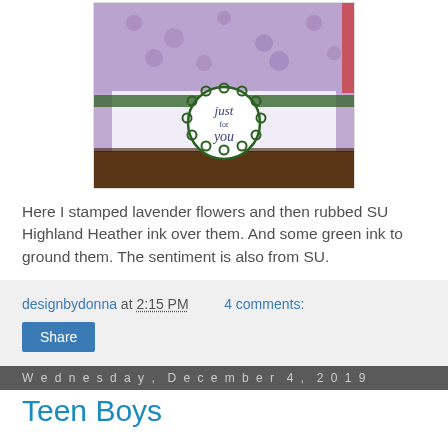[Figure (photo): A handmade card or bag with purple/lavender stamped flowers, a green stripe accent, and a circular 'just for you' sentiment badge on white background.]
Here I stamped lavender flowers and then rubbed SU Highland Heather ink over them. And some green ink to ground them. The sentiment is also from SU.
designbydonna at 2:15 PM    4 comments:
Share
Wednesday, December 4, 2019
Teen Boys
I have finally recovered from last week. My daughter's family of 5 were here for 5 days. It was sure fun to have them here